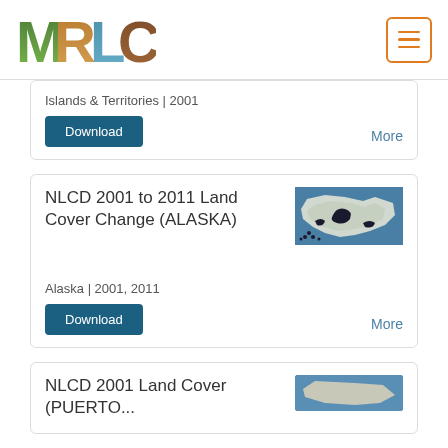MRLC
Islands & Territories | 2001
Download
More
NLCD 2001 to 2011 Land Cover Change (ALASKA)
[Figure (map): Map thumbnail showing Alaska land cover change]
Alaska | 2001, 2011
Download
More
NLCD 2001 Land Cover (PUERTO...